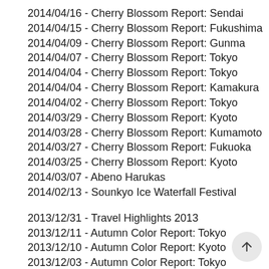2014/04/16 - Cherry Blossom Report: Sendai
2014/04/15 - Cherry Blossom Report: Fukushima
2014/04/09 - Cherry Blossom Report: Gunma
2014/04/07 - Cherry Blossom Report: Tokyo
2014/04/04 - Cherry Blossom Report: Tokyo
2014/04/04 - Cherry Blossom Report: Kamakura
2014/04/02 - Cherry Blossom Report: Tokyo
2014/03/29 - Cherry Blossom Report: Kyoto
2014/03/28 - Cherry Blossom Report: Kumamoto
2014/03/27 - Cherry Blossom Report: Fukuoka
2014/03/25 - Cherry Blossom Report: Kyoto
2014/03/07 - Abeno Harukas
2014/02/13 - Sounkyo Ice Waterfall Festival
2013/12/31 - Travel Highlights 2013
2013/12/11 - Autumn Color Report: Tokyo
2013/12/10 - Autumn Color Report: Kyoto
2013/12/03 - Autumn Color Report: Tokyo
2013/11/29 - Autumn Color Report: Kyoto
2013/11/28 - Autumn Color Report: Kanazawa
2013/11/27 - Autumn Color Report: Osaka